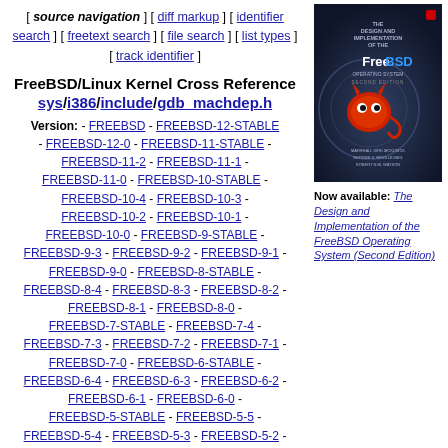[ source navigation ] [ diff markup ] [ identifier search ] [ freetext search ] [ file search ] [ list types ] [ track identifier ]
FreeBSD/Linux Kernel Cross Reference sys/i386/include/gdb_machdep.h
Version: - FREEBSD - FREEBSD-12-STABLE - FREEBSD-12-0 - FREEBSD-11-STABLE - FREEBSD-11-2 - FREEBSD-11-1 - FREEBSD-11-0 - FREEBSD-10-STABLE - FREEBSD-10-4 - FREEBSD-10-3 - FREEBSD-10-2 - FREEBSD-10-1 - FREEBSD-10-0 - FREEBSD-9-STABLE - FREEBSD-9-3 - FREEBSD-9-2 - FREEBSD-9-1 - FREEBSD-9-0 - FREEBSD-8-STABLE - FREEBSD-8-4 - FREEBSD-8-3 - FREEBSD-8-2 - FREEBSD-8-1 - FREEBSD-8-0 - FREEBSD-7-STABLE - FREEBSD-7-4 - FREEBSD-7-3 - FREEBSD-7-2 - FREEBSD-7-1 - FREEBSD-7-0 - FREEBSD-6-STABLE - FREEBSD-6-4 - FREEBSD-6-3 - FREEBSD-6-2 - FREEBSD-6-1 - FREEBSD-6-0 - FREEBSD-5-STABLE - FREEBSD-5-5 - FREEBSD-5-4 - FREEBSD-5-3 - FREEBSD-5-2 - FREEBSD-5-1 - FREEBSD-5-0 - FREEBSD-4-STABLE - FREEBSD-3-STABLE
[Figure (photo): Book cover: The Design and Implementation of the FreeBSD Operating System, Second Edition]
Now available: The Design and Implementation of the FreeBSD Operating System (Second Edition)